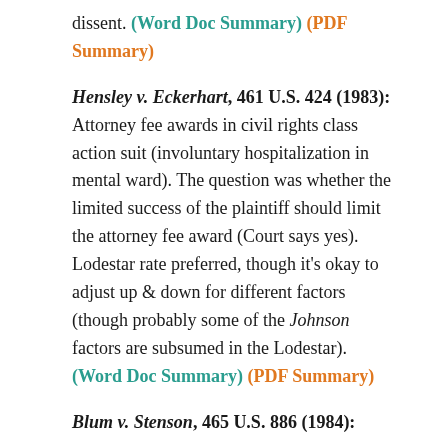dissent. (Word Doc Summary) (PDF Summary)
Hensley v. Eckerhart, 461 U.S. 424 (1983): Attorney fee awards in civil rights class action suit (involuntary hospitalization in mental ward). The question was whether the limited success of the plaintiff should limit the attorney fee award (Court says yes). Lodestar rate preferred, though it's okay to adjust up & down for different factors (though probably some of the Johnson factors are subsumed in the Lodestar). (Word Doc Summary) (PDF Summary)
Blum v. Stenson, 465 U.S. 886 (1984):